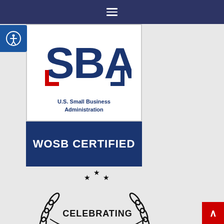Navigation menu header bar
[Figure (logo): SBA WOSB Certified badge — U.S. Small Business Administration logo with blue SBA letters and red bracket, above a dark navy blue banner reading WOSB CERTIFIED in white bold text]
[Figure (logo): Celebrating anniversary badge — circular emblem with laurel wreath, stars, and the word CELEBRATING in the center arc, black on white]